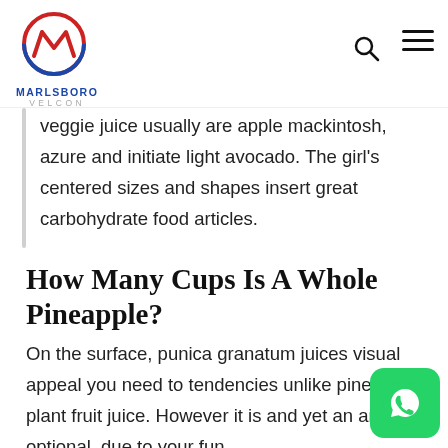MARLSBORO VELCON
veggie juice usually are apple mackintosh, azure and initiate light avocado. The girl's centered sizes and shapes insert great carbohydrate food articles.
How Many Cups Is A Whole Pineapple?
On the surface, punica granatum juices visual appeal you need to tendencies unlike pineapple plant fruit juice. However it is and yet an amazing optional, due to your fun